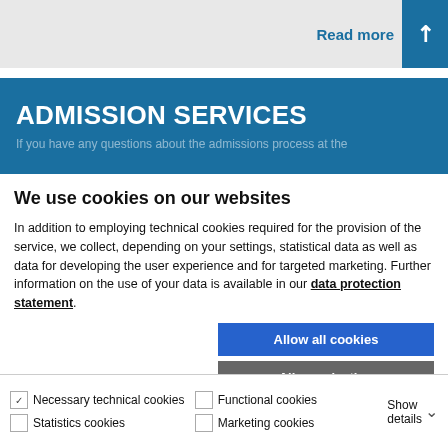Read more
ADMISSION SERVICES
If you have any questions about the admissions process at the
We use cookies on our websites
In addition to employing technical cookies required for the provision of the service, we collect, depending on your settings, statistical data as well as data for developing the user experience and for targeted marketing. Further information on the use of your data is available in our data protection statement.
Allow all cookies
Allow selection
Use necessary cookies only
Necessary technical cookies   Functional cookies   Statistics cookies   Marketing cookies   Show details